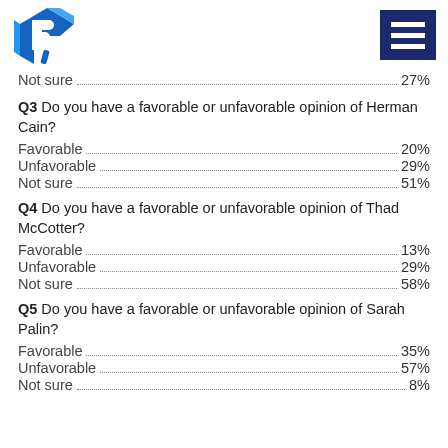Logo and navigation menu
Not sure ... 27%
Q3 Do you have a favorable or unfavorable opinion of Herman Cain?
Favorable ... 20%
Unfavorable ... 29%
Not sure ... 51%
Q4 Do you have a favorable or unfavorable opinion of Thad McCotter?
Favorable ... 13%
Unfavorable ... 29%
Not sure ... 58%
Q5 Do you have a favorable or unfavorable opinion of Sarah Palin?
Favorable ... 35%
Unfavorable ... 57%
Not sure ... 8%